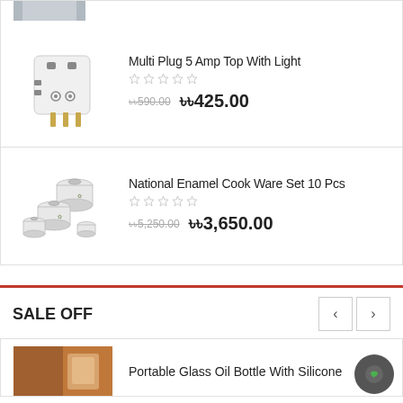[Figure (photo): Partial view of a product image at the top of the page (cropped)]
Multi Plug 5 Amp Top With Light
Star rating: 0 out of 5
৳590.00  ৳425.00
[Figure (photo): National Enamel Cook Ware Set 10 Pcs - white enamel pots with lids]
National Enamel Cook Ware Set 10 Pcs
Star rating: 0 out of 5
৳5,250.00  ৳3,650.00
SALE OFF
[Figure (photo): Portable Glass Oil Bottle With Silicone - partial product image at bottom]
Portable Glass Oil Bottle With Silicone